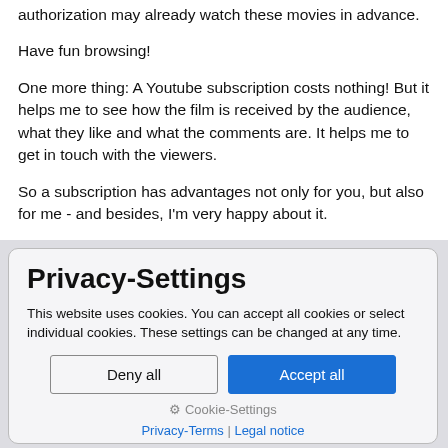authorization may already watch these movies in advance.
Have fun browsing!
One more thing: A Youtube subscription costs nothing! But it helps me to see how the film is received by the audience, what they like and what the comments are. It helps me to get in touch with the viewers.
So a subscription has advantages not only for you, but also for me - and besides, I'm very happy about it.
Privacy-Settings
This website uses cookies. You can accept all cookies or select individual cookies. These settings can be changed at any time.
Deny all
Accept all
⚙ Cookie-Settings
Privacy-Terms | Legal notice